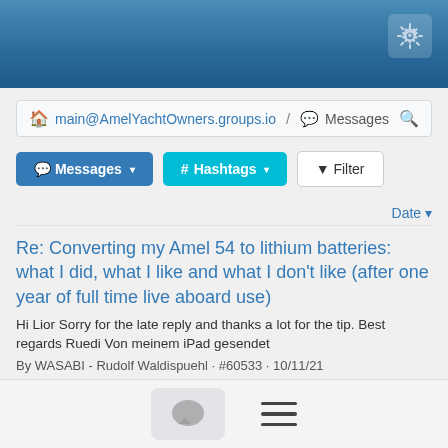[Figure (screenshot): Top navigation bar with blue gradient background and gear/settings icon in top-right corner]
main@AmelYachtOwners.groups.io / Messages
Messages  # Hashtags  Filter
Date
Re: Converting my Amel 54 to lithium batteries: what I did, what I like and what I don't like (after one year of full time live aboard use)
Hi Lior Sorry for the late reply and thanks a lot for the tip. Best regards Ruedi Von meinem iPad gesendet
By WASABI - Rudolf Waldispuehl · #60533 · 10/11/21
Amel Santorin For Sale. US Coast Guard
Bottom navigation bar with chat bubble icon and menu lines